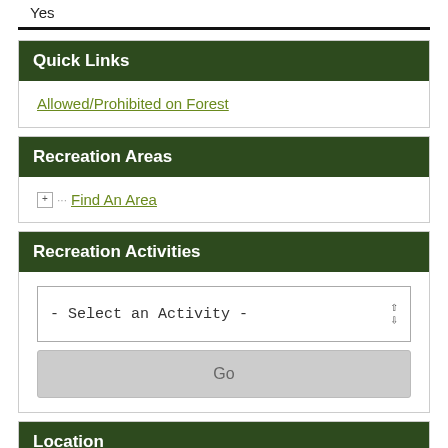Yes
Quick Links
Allowed/Prohibited on Forest
Recreation Areas
Find An Area
Recreation Activities
- Select an Activity -
Go
Location
Latitude: 34.30542
Longitude: 119.00017